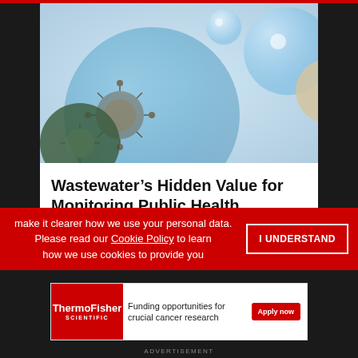[Figure (photo): Scientific/medical image showing virus particles or microorganisms in glass spheres/bubbles against a light blue background]
Wastewater’s Hidden Value for Monitoring Public Health
eBooks
make it clearer how we use your personal data. Please read our Cookie Policy to learn how we use cookies to provide you
I UNDERSTAND
[Figure (logo): ThermoFisher Scientific logo in white on red background]
Funding opportunities for crucial cancer research
Apply now
ADVERTISEMENT